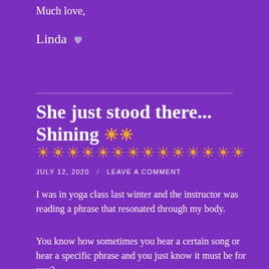Much love,
Linda 🤍
She just stood there... Shining 🌟🌟 🌟🌟🌟🌟🌟🌟🌟🌟🌟🌟🌟🌟
JULY 12, 2020  /  LEAVE A COMMENT
I was in yoga class last winter and the instructor was reading a phrase that resonated through my body.
You know how sometimes you hear a certain song or hear a specific phrase and you just know it must be for you?